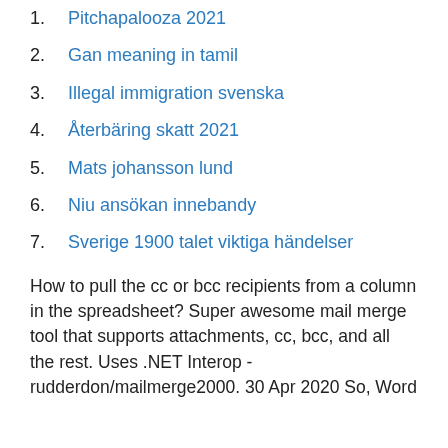1. Pitchapalooza 2021
2. Gan meaning in tamil
3. Illegal immigration svenska
4. Återbäring skatt 2021
5. Mats johansson lund
6. Niu ansökan innebandy
7. Sverige 1900 talet viktiga händelser
How to pull the cc or bcc recipients from a column in the spreadsheet? Super awesome mail merge tool that supports attachments, cc, bcc, and all the rest. Uses .NET Interop - rudderdon/mailmerge2000. 30 Apr 2020 So, Word